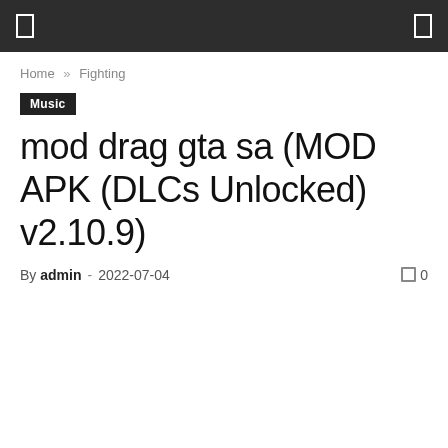[ navigation bar with menu icons ]
Home » Fighting
Music
mod drag gta sa (MOD APK (DLCs Unlocked) v2.10.9)
By admin - 2022-07-04  0